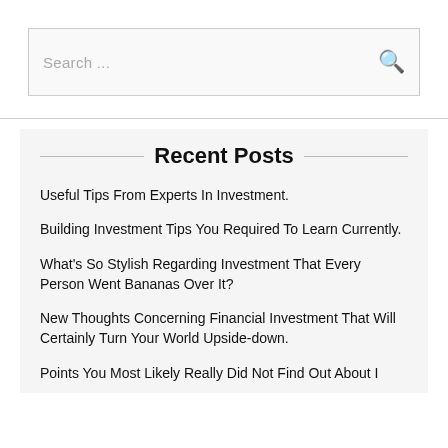[Figure (other): Search bar with placeholder text 'Search ...' and a search icon button on the right]
Recent Posts
Useful Tips From Experts In Investment.
Building Investment Tips You Required To Learn Currently.
What's So Stylish Regarding Investment That Every Person Went Bananas Over It?
New Thoughts Concerning Financial Investment That Will Certainly Turn Your World Upside-down.
Points You Most Likely Really Did Not Find Out About I